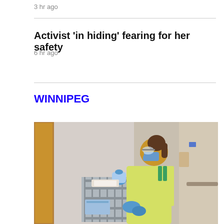3 hr ago
Activist 'in hiding' fearing for her safety
6 hr ago
WINNIPEG
[Figure (photo): A healthcare worker wearing a yellow protective gown, blue gloves, face mask, and protective goggles, handling medical supplies from a wire rack cart in a hospital hallway setting.]